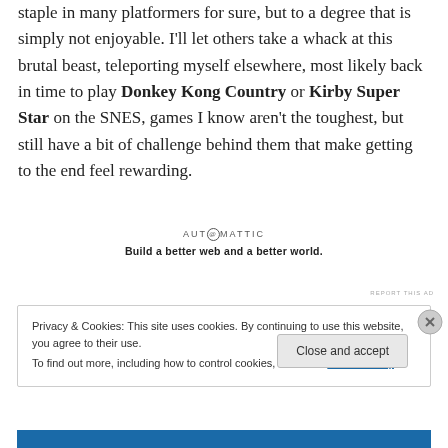staple in many platformers for sure, but to a degree that is simply not enjoyable. I'll let others take a whack at this brutal beast, teleporting myself elsewhere, most likely back in time to play Donkey Kong Country or Kirby Super Star on the SNES, games I know aren't the toughest, but still have a bit of challenge behind them that make getting to the end feel rewarding.
[Figure (other): Automattic advertisement: logo text 'AUTOMATTIC' with stylized @ symbol, tagline 'Build a better web and a better world.']
REPORT THIS AD
Privacy & Cookies: This site uses cookies. By continuing to use this website, you agree to their use.
To find out more, including how to control cookies, see here: Cookie Policy
Close and accept